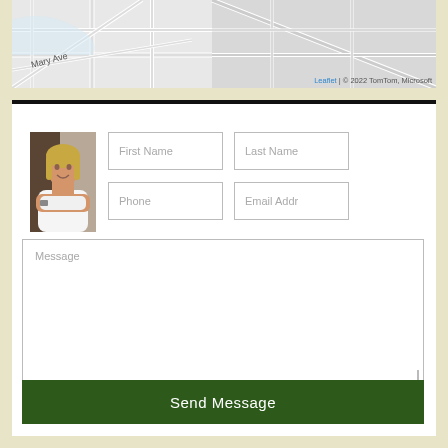[Figure (map): Street map showing Mary Ave area with road network. Attribution: Leaflet | © 2022 TomTom, Microsoft]
[Figure (photo): Headshot photo of a blonde woman in a white top with arms crossed, smiling, standing in front of a building]
First Name
Last Name
Phone
Email Addr
Message
Send Message